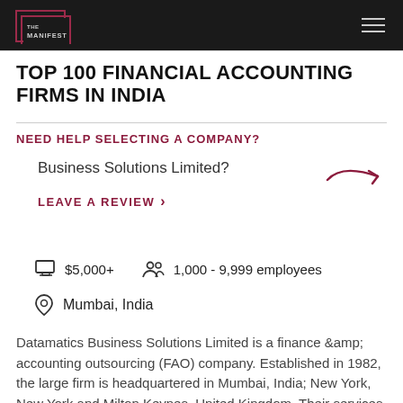THE MANIFEST
TOP 100 FINANCIAL ACCOUNTING FIRMS IN INDIA
NEED HELP SELECTING A COMPANY?
Business Solutions Limited?
LEAVE A REVIEW
$5,000+
1,000 - 9,999 employees
Mumbai, India
Datamatics Business Solutions Limited is a finance &amp; accounting outsourcing (FAO) company. Established in 1982, the large firm is headquartered in Mumbai, India; New York, New York and Milton Keynes, United Kingdom. Their services include